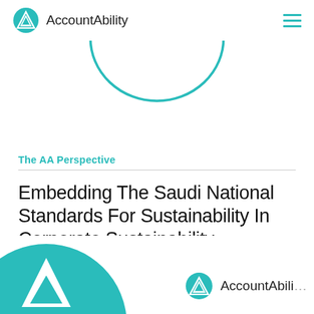AccountAbility
[Figure (logo): Partial circular stamp/seal showing text 'MENT INS' in teal, cropped at top of page]
The AA Perspective
Embedding The Saudi National Standards For Sustainability In Corporate Sustainability Reporting
[Figure (logo): Partial large teal circular logo at bottom-left, cropped]
[Figure (logo): AccountAbility logo at bottom-right with teal triangle icon, text reads 'AccountAbili' (partially cropped)]